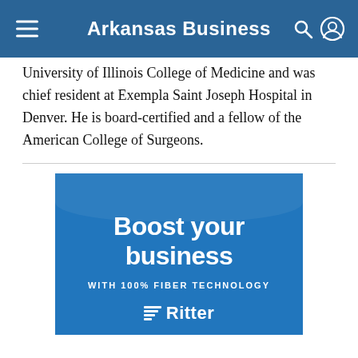Arkansas Business
University of Illinois College of Medicine and was chief resident at Exempla Saint Joseph Hospital in Denver. He is board-certified and a fellow of the American College of Surgeons.
[Figure (infographic): Advertisement for Ritter Communications: 'Boost your business WITH 100% FIBER TECHNOLOGY' with Ritter logo on blue background]